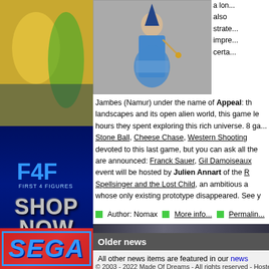[Figure (photo): Left column top: colorful photo background (yellow, green tones)]
[Figure (illustration): Advertisement: First 4 Figures Shop Now banner with logo on dark blue background]
[Figure (photo): Left column bottom: SEGA storefront sign in red]
[Figure (illustration): Game character artwork: wizard/mage figure on grey background]
a lon... also strate... impre... certa... Jambes (Namur) under the name of Appeal: the landscapes and its open alien world, this game le... hours they spent exploring this rich universe. 8 ga... Stone Ball, Cheese Chase, Western Shooting devoted to this last game, but you can ask all the are announced: Franck Sauer, Gil Damoiseaux... event will be hosted by Julien Annart of the R... Spellsinger and the Lost Child, an ambitious a... whose only existing prototype disappeared. See y... Friday, February 27 at 19:30 for a special momen... (Facebook page of the event). Note: the conferenc...
Author: Nomax   More info...   Permalink...
Older news
All other news items are featured in our news archive
© 2003 - 2022 Made Of Dreams - All rights reserved - Hosted by one.c...